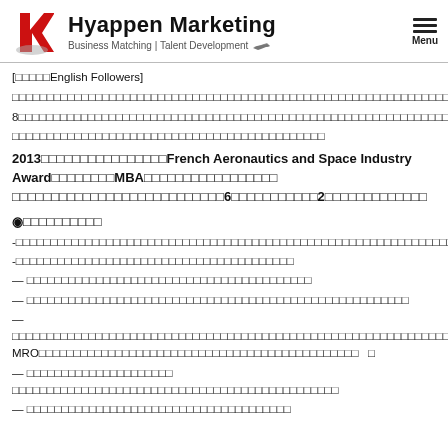Hyappen Marketing — Business Matching | Talent Development
[□□□□□English Followers]
□□□□□□□□□□□□□□□□□□□□□□□□□□□□□□□□□□□□□□□□□□□□□□□□□□□□□□□□□□□□□□□□□□□□□□□□□□□□□□□□□□□□□□□□□□□□□□□□□□□□□□□□□□□□□□□□□□□□□□□□□□□□□□□□□□□□□□□□□□□□□□□□□□□□□□□□□□□□□□
8□□□□□□□□□□□□□□□□□□□□□□□□□□□□□□□□□□□□□□□□□□□□□□□□□□□□□□□□□□□□□□□□□□□□□□□□□□□□□□□□□□□□□□□□□□□□□□□□□□□□□□□□□□□□□□□□□□□□□□□□□□□□□□□□□□□□□□□□□□□□□□□□□□□□□□□□□□□□□□□
□□□□□□□□□□□□□□□□□□□□□□□□□□□□□□□□□□□□□□□□□
2013□□□□□□□□□□□□□□□□French Aeronautics and Space Industry Award□□□□□□□□MBA□□□□□□□□□□□□□□□□□ □□□□□□□□□□□□□□□□□□□□□□□□□□□6□□□□□□□□□□□2□□□□□□□□□□□□□
◉□□□□□□□□□□
-□□□□□□□□□□□□□□□□□□□□□□□□□□□□□□□□□□□□□□□□□□□□□□□□□□□□□□□□□□□□□□□□□□□□
-□□□□□□□□□□□□□□□□□□□□□□□□□□□□□□□□□□□□□□
— □□□□□□□□□□□□□□□□□□□□□□□□□□□□□□□□□□□□□□□□
— □□□□□□□□□□□□□□□□□□□□□□□□□□□□□□□□□□□□□□□□□□□□□□□□□□□
— □□□□□□□□□□□□□□□□□□□□□□□□□□□□□□□□□□□□□□□□□□□□□□□□□□□□□□□□□□□□□□□□□□□□□□□□□□□MRO□□□□□□□□□□□□□□□□□□□□□□□□□□□□□□□□□□□□□□□□□□□□□□□   □
— □□□□□□□□□□□□□□□□□□□□□ □□□□□□□□□□□□□□□□□□□□□□□□□□□□□□□□□□□□□□□□□□□□□□
— □□□□□□□□□□□□□□□□□□□□□□□□□□□□□□□□□□□□□